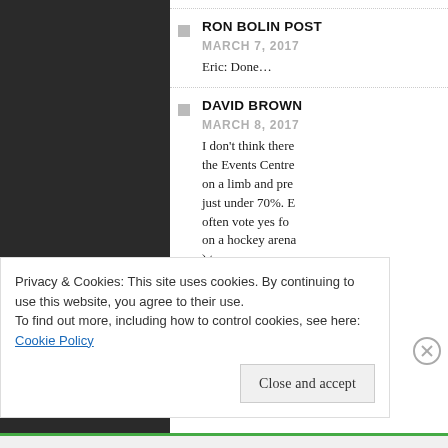RON BOLIN POST
MARCH 7, 2017
Eric: Done…
DAVID BROWN
MARCH 8, 2017
I don't think there the Events Centre on a limb and pre just under 70%. E often vote yes fo on a hockey arena ) t aw
Privacy & Cookies: This site uses cookies. By continuing to use this website, you agree to their use.
To find out more, including how to control cookies, see here: Cookie Policy
Close and accept